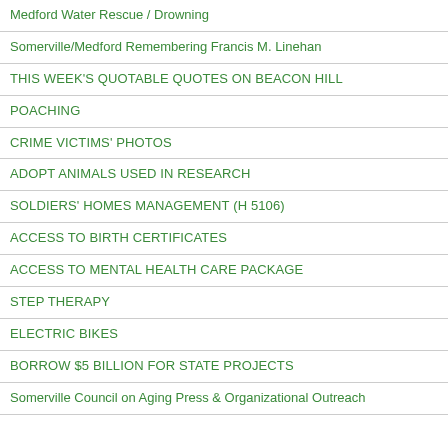Medford Water Rescue / Drowning
Somerville/Medford Remembering Francis M. Linehan
THIS WEEK'S QUOTABLE QUOTES ON BEACON HILL
POACHING
CRIME VICTIMS' PHOTOS
ADOPT ANIMALS USED IN RESEARCH
SOLDIERS' HOMES MANAGEMENT (H 5106)
ACCESS TO BIRTH CERTIFICATES
ACCESS TO MENTAL HEALTH CARE PACKAGE
STEP THERAPY
ELECTRIC BIKES
BORROW $5 BILLION FOR STATE PROJECTS
Somerville Council on Aging Press & Organizational Outreach